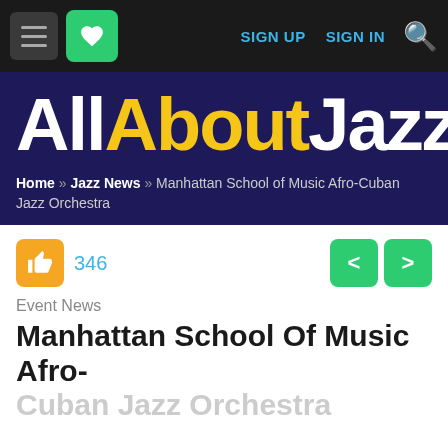SIGN UP  SIGN IN
[Figure (logo): AllAboutJazz website logo: 'All' in white, 'About' in yellow, 'Jazz' in white, large bold text on dark navy background]
Home » Jazz News » Manhattan School of Music Afro-Cuban Jazz Orchestra
346
Event News
Manhattan School Of Music Afro-Cuban Jazz Orchestra